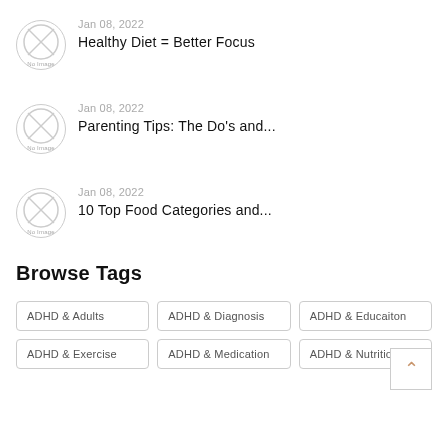Jan 08, 2022 — Healthy Diet = Better Focus
Jan 08, 2022 — Parenting Tips: The Do's and...
Jan 08, 2022 — 10 Top Food Categories and...
Browse Tags
ADHD & Adults | ADHD & Diagnosis | ADHD & Educaiton | ADHD & Exercise | ADHD & Medication | ADHD & Nutrition